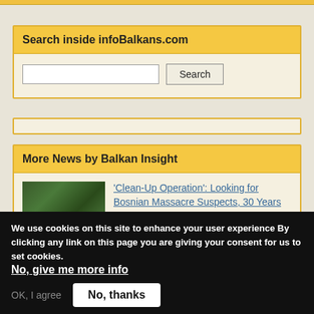Search inside infoBalkans.com
Search
More News by Balkan Insight
'Clean-Up Operation': Looking for Bosnian Massacre Suspects, 30 Years On
Mission [Almost] Impossible: Wartime Reform of NATO Apparatus
Privacy settings
We use cookies on this site to enhance your user experience By clicking any link on this page you are giving your consent for us to set cookies. No, give me more info
OK, I agree
No, thanks